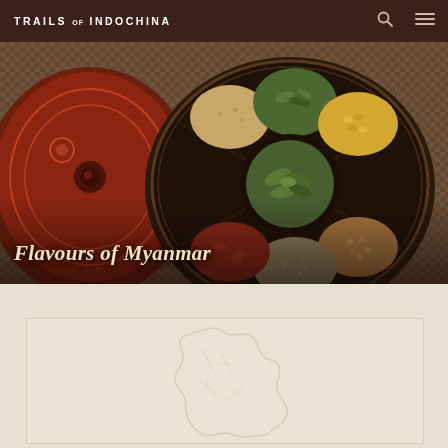TRAILS OF INDOCHINA
[Figure (photo): Overhead shot of a decorative circular spice tray with compartments containing various spices, seeds, and herbs including red beans, green tea leaves, yellow corn, lentils, and ground spices, next to a carved red lacquered container, on a woven mat background]
Flavours of Myanmar
[Figure (map): Faint outline map of Myanmar (Burma) watermark on a light beige/cream background]